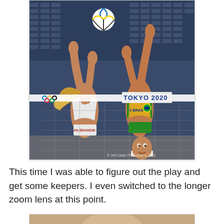[Figure (photo): Two female beach volleyball players at Tokyo 2020 Olympics. One player in white 'BRANDIE' uniform, one in yellow/green 'BRASIL' uniform, both reaching up to block a volleyball at the net. Tokyo 2020 branding visible on net. Olympic rings visible. Copyright Jeff Cable Photography 2021.]
This time I was able to figure out the play and get some keepers. I even switched to the longer zoom lens at this point.
[Figure (photo): Partial photo of a beach volleyball player from behind, wearing a white uniform.]